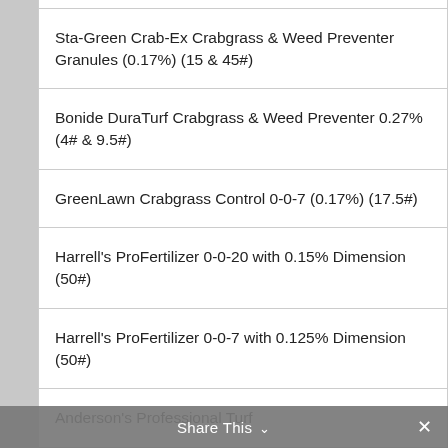|  | Sta-Green Crab-Ex Crabgrass & Weed Preventer Granules (0.17%) (15 & 45#) |
|  | Bonide DuraTurf Crabgrass & Weed Preventer 0.27% (4# & 9.5#) |
|  | GreenLawn Crabgrass Control 0-0-7 (0.17%) (17.5#) |
|  | Harrell's ProFertilizer 0-0-20 with 0.15% Dimension (50#) |
|  | Harrell's ProFertilizer 0-0-7 with 0.125% Dimension (50#) |
|  | Anderson's Professional Turf |
Share This ∨  ×